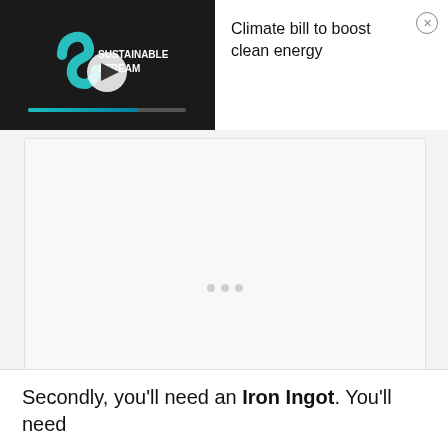[Figure (screenshot): Video thumbnail for 'Sustainable Stream' channel showing dark background with logo text 'SUSTAINABLE STREAM', a white play button circle, and a teal/blue progress bar at bottom]
Climate bill to boost clean energy
[Figure (screenshot): Content loading area with light grey background and three loading dots in the center]
Secondly, you'll need an Iron Ingot. You'll need